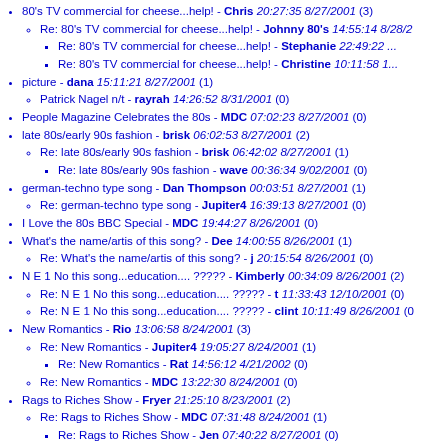80's TV commercial for cheese...help! - Chris 20:27:35 8/27/2001 (3)
Re: 80's TV commercial for cheese...help! - Johnny 80's 14:55:14 8/28/2
Re: 80's TV commercial for cheese...help! - Stephanie 22:49:22 ...
Re: 80's TV commercial for cheese...help! - Christine 10:11:58 1...
picture - dana 15:11:21 8/27/2001 (1)
Patrick Nagel n/t - rayrah 14:26:52 8/31/2001 (0)
People Magazine Celebrates the 80s - MDC 07:02:23 8/27/2001 (0)
late 80s/early 90s fashion - brisk 06:02:53 8/27/2001 (2)
Re: late 80s/early 90s fashion - brisk 06:42:02 8/27/2001 (1)
Re: late 80s/early 90s fashion - wave 00:36:34 9/02/2001 (0)
german-techno type song - Dan Thompson 00:03:51 8/27/2001 (1)
Re: german-techno type song - Jupiter4 16:39:13 8/27/2001 (0)
I Love the 80s BBC Special - MDC 19:44:27 8/26/2001 (0)
What's the name/artis of this song? - Dee 14:00:55 8/26/2001 (1)
Re: What's the name/artis of this song? - j 20:15:54 8/26/2001 (0)
N E 1 No this song...education.... ????? - Kimberly 00:34:09 8/26/2001 (2)
Re: N E 1 No this song...education.... ????? - t 11:33:43 12/10/2001 (0)
Re: N E 1 No this song...education.... ????? - clint 10:11:49 8/26/2001 (0
New Romantics - Rio 13:06:58 8/24/2001 (3)
Re: New Romantics - Jupiter4 19:05:27 8/24/2001 (1)
Re: New Romantics - Rat 14:56:12 4/21/2002 (0)
Re: New Romantics - MDC 13:22:30 8/24/2001 (0)
Rags to Riches Show - Fryer 21:25:10 8/23/2001 (2)
Re: Rags to Riches Show - MDC 07:31:48 8/24/2001 (1)
Re: Rags to Riches Show - Jen 07:40:22 8/27/2001 (0)
80's fashion to a 16-year-old. Can you help me? - Vikky 16:05:02 8/23/2001 (3)
Re: 80's fashion to a 16-year-old. Can you help me? - Julie 20:40:53 9/16
Re: 80's fashion to a 16-year-old. Can you help me? - Courtney 14:42:02
Re: 80's fashion to a 16-year-old. Can you help me? - MDC 07:35:15 8/24
Miami Vice reruns - Big80s 21:46:45 8/22/2001 (1)
Re: Miami Vice reruns - greg 22:37:39 10/05/2001 (0)
The Police--Selling All 6 LPs - Coupongal1 14:41:28 8/22/2001 (0)
In search of The Dooleys - steve jacks 08:19:29 8/22/2001 (0)
What was that show? - Abby 00:22:16 8/22/2001 (1)